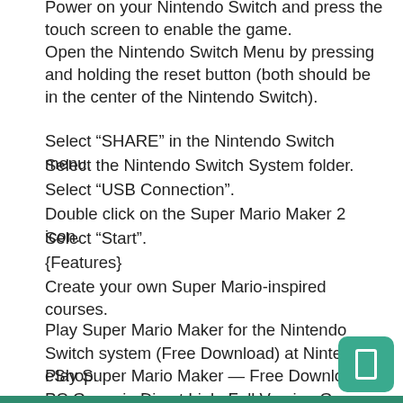Power on your Nintendo Switch and press the touch screen to enable the game.
Open the Nintendo Switch Menu by pressing and holding the reset button (both should be in the center of the Nintendo Switch).
Select “SHARE” in the Nintendo Switch menu.
Select the Nintendo Switch System folder.
Select “USB Connection”.
Double click on the Super Mario Maker 2 icon.
Select “Start”.
{Features}
Create your own Super Mario-inspired courses.
Play Super Mario Maker for the Nintendo Switch system (Free Download) at Nintendo eShop.
Play Super Mario Maker — Free Download PC Game in Direct Link, Full Version Game, Free Download PC Game.
Super Mario Maker Download For PC Full Version — Best Free PC Games.
Super Mario Maker — Play free online and download full